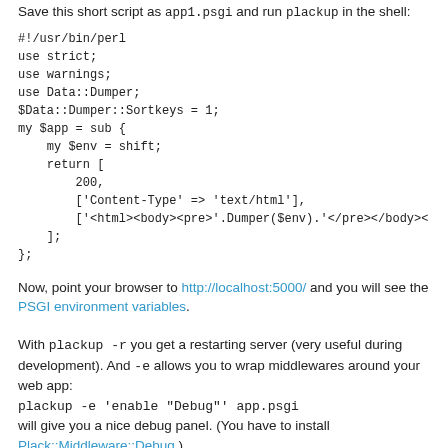Save this short script as app1.psgi and run plackup in the shell:
#!/usr/bin/perl
use strict;
use warnings;
use Data::Dumper;
$Data::Dumper::Sortkeys = 1;
my $app = sub {
    my $env = shift;
    return [
        200,
        ['Content-Type' => 'text/html'],
        ['<html><body><pre>'.Dumper($env).'</pre></body><
    ];
};
Now, point your browser to http://localhost:5000/ and you will see the PSGI environment variables.
With plackup -r you get a restarting server (very useful during development). And -e allows you to wrap middlewares around your web app:
plackup -e 'enable "Debug"' app.psgi
will give you a nice debug panel. (You have to install Plack::Middleware::Debug.)